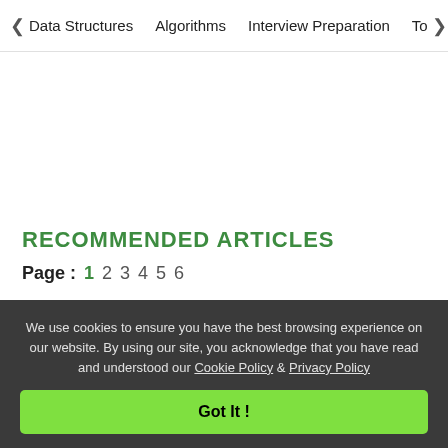< Data Structures   Algorithms   Interview Preparation   To>
RECOMMENDED ARTICLES
Page : 1 2 3 4 5 6
01 Xv6 Operating System -adding a new
We use cookies to ensure you have the best browsing experience on our website. By using our site, you acknowledge that you have read and understood our Cookie Policy & Privacy Policy
Got It !